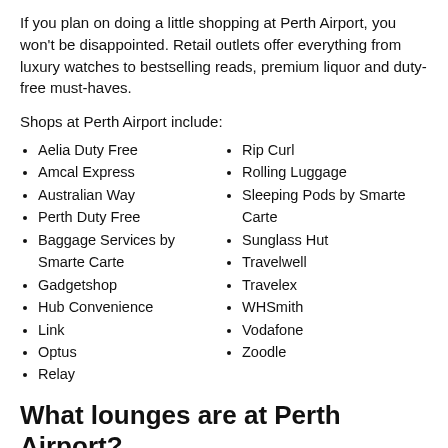If you plan on doing a little shopping at Perth Airport, you won't be disappointed. Retail outlets offer everything from luxury watches to bestselling reads, premium liquor and duty-free must-haves.
Shops at Perth Airport include:
Aelia Duty Free
Amcal Express
Australian Way
Perth Duty Free
Baggage Services by Smarte Carte
Gadgetshop
Hub Convenience
Link
Optus
Relay
Rip Curl
Rolling Luggage
Sleeping Pods by Smarte Carte
Sunglass Hut
Travelwell
Travelex
WHSmith
Vodafone
Zoodle
What lounges are at Perth Airport?
Whether you're looking to squeeze in a little work before your international or east coast-bound flight, or all you want to do is sit